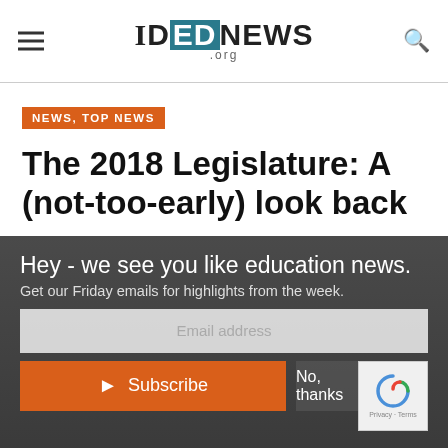IDEDNews.org
NEWS, TOP NEWS
The 2018 Legislature: A (not-too-early) look back
Kevin Richert • 03/22/2018
Hey - we see you like education news. Get our Friday emails for highlights from the week.
Email address
Subscribe
No, thanks